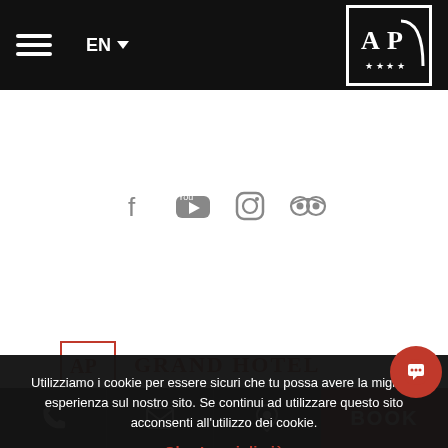[Figure (screenshot): Hotel website screenshot with black navigation bar showing hamburger menu, EN language selector, and AP hotel logo with 4 stars]
[Figure (illustration): Social media icons row: Facebook, YouTube, Instagram, TripAdvisor]
[Figure (logo): Partially visible hotel section with AP logo and text GRAND HOTEL in red]
Utilizziamo i cookie per essere sicuri che tu possa avere la migliore esperienza sul nostro sito. Se continui ad utilizzare questo sito acconsenti all'utilizzo dei cookie.
Ok  Leggi di più
Sole2 srl - P.IVA IT 01129240311 - Policy Privacy - Cookie - Powered by Readytec spa
BOOK